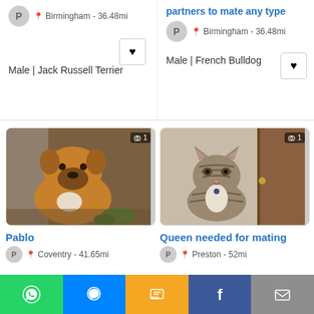partners to mate any type
Birmingham - 36.48mi
Male | Jack Russell Terrier
Birmingham - 36.48mi
Male | French Bulldog
[Figure (photo): Brown/tan Staffordshire Bull Terrier dog sitting and looking at camera, photo badge showing camera icon and 1]
Pablo
Coventry - 41.65mi
[Figure (photo): Tabby cat sitting upright looking at camera, photo badge showing camera icon and 1]
Queen needed for mating
Preston - 52mi